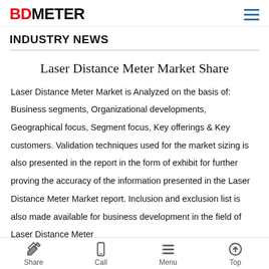BDMETER
INDUSTRY NEWS
Laser Distance Meter Market Share
Laser Distance Meter Market is Analyzed on the basis of: Business segments, Organizational developments, Geographical focus, Segment focus, Key offerings & Key customers. Validation techniques used for the market sizing is also presented in the report in the form of exhibit for further proving the accuracy of the information presented in the Laser Distance Meter Market report. Inclusion and exclusion list is also made available for business development in the field of Laser Distance Meter
Share  Call  Menu  Top